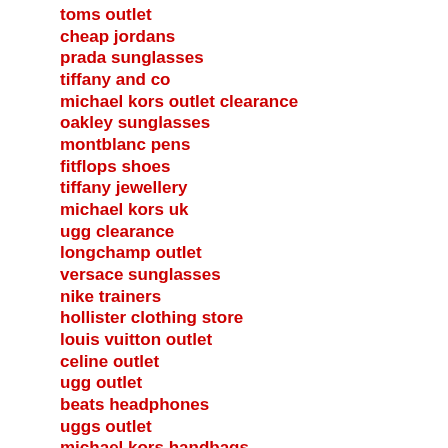toms outlet
cheap jordans
prada sunglasses
tiffany and co
michael kors outlet clearance
oakley sunglasses
montblanc pens
fitflops shoes
tiffany jewellery
michael kors uk
ugg clearance
longchamp outlet
versace sunglasses
nike trainers
hollister clothing store
louis vuitton outlet
celine outlet
ugg outlet
beats headphones
uggs outlet
michael kors handbags
mulberry bags